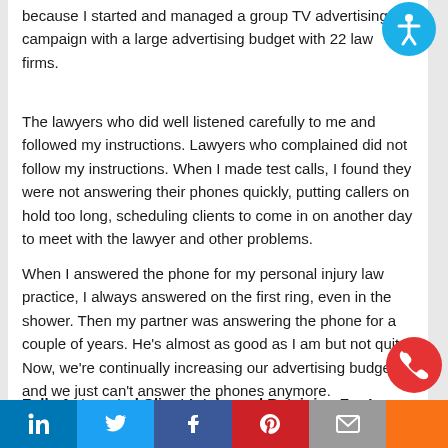because I started and managed a group TV advertising campaign with a large advertising budget with 22 law firms.
The lawyers who did well listened carefully to me and followed my instructions. Lawyers who complained did not follow my instructions. When I made test calls, I found they were not answering their phones quickly, putting callers on hold too long, scheduling clients to come in on another day to meet with the lawyer and other problems.
When I answered the phone for my personal injury law practice, I always answered on the first ring, even in the shower. Then my partner was answering the phone for a couple of years. He's almost as good as I am but not quite. Now, we're continually increasing our advertising budget, and we just can't answer the phones anymore.
Fully Automated Client Intake and Retaining For La...